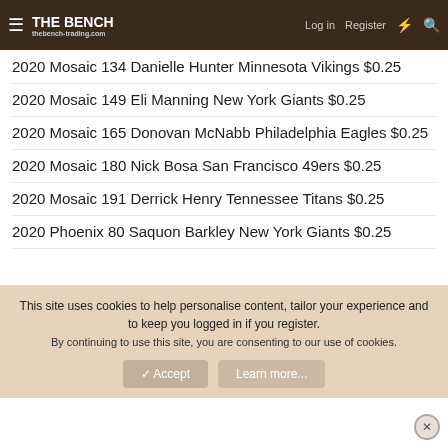THE BENCH — thebench.trading.com | Log in | Register
2020 Mosaic 134 Danielle Hunter Minnesota Vikings $0.25
2020 Mosaic 149 Eli Manning New York Giants $0.25
2020 Mosaic 165 Donovan McNabb Philadelphia Eagles $0.25
2020 Mosaic 180 Nick Bosa San Francisco 49ers $0.25
2020 Mosaic 191 Derrick Henry Tennessee Titans $0.25
2020 Phoenix 80 Saquon Barkley New York Giants $0.25
2020 Phoenix 81 Golden Tate III New York Giants $0.25
2020 Phoenix 82 Jimmy Garoppolo San Francisco 49ers $0.25
This site uses cookies to help personalise content, tailor your experience and to keep you logged in if you register.
By continuing to use this site, you are consenting to our use of cookies.
Accept | Learn more...